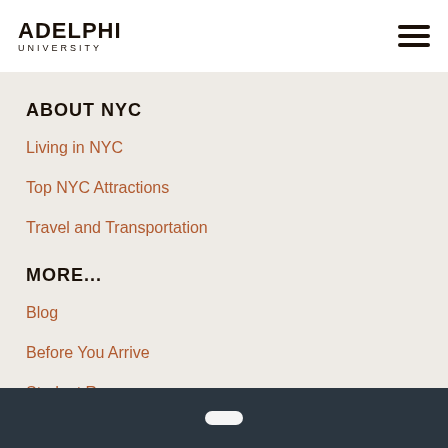ADELPHI UNIVERSITY
ABOUT NYC
Living in NYC
Top NYC Attractions
Travel and Transportation
MORE...
Blog
Before You Arrive
Student Resources